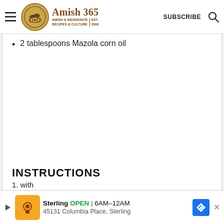Amish 365 — AMISH & MENNONITE RECIPES & CULTURE | EST. 2000 | SUBSCRIBE
2 tablespoons Mazola corn oil
INSTRUCTIONS
1. ... with